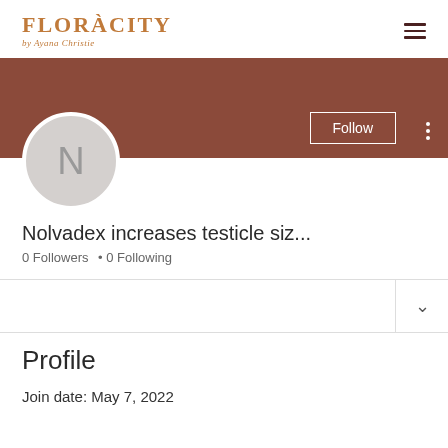[Figure (logo): Floracity by Ayona Christie logo with orange serif text and cursive subtitle]
[Figure (screenshot): User profile page showing brown banner, avatar with letter N, Follow button, 0 Followers, 0 Following, and Profile section with Join date: May 7, 2022]
Nolvadex increases testicle siz...
0 Followers • 0 Following
Profile
Join date: May 7, 2022